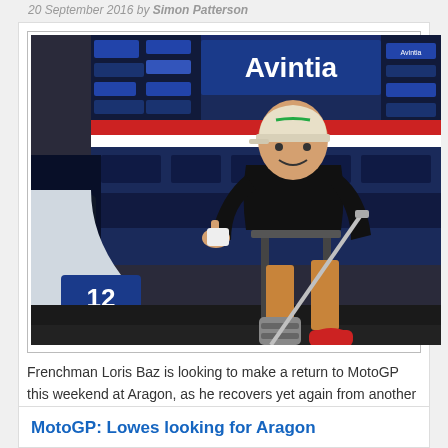20 September 2016 by Simon Patterson
[Figure (photo): Loris Baz sitting in the Avintia Ducati team garage, wearing a medical boot on his left leg and holding a crutch, giving a thumbs up. The number 12 is visible on a fairing in front of him. Avintia branding is prominent in the background.]
Frenchman Loris Baz is looking to make a return to MotoGP this weekend at Aragon, as he recovers yet again from another injury in his incident-hit 2016 season. The Avintia Ducati rider was caught up...
MotoGP: Lowes looking for Aragon